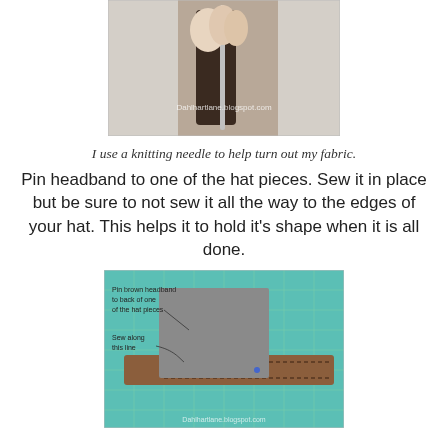[Figure (photo): Hand holding a dark brown fabric piece with a knitting needle being used to turn out the fabric. Watermark: Dahlhartlane.blogspot.com]
I use a knitting needle to help turn out my fabric.
Pin headband to one of the hat pieces. Sew it in place but be sure to not sew it all the way to the edges of your hat. This helps it to hold it's shape when it is all done.
[Figure (photo): Brown headband pinned to back of grey felt hat piece on a green cutting mat. Annotations: 'Pin brown headband to back of one of the hat pieces', 'Sew along this line'. Watermark: Dahlhartlane.blogspot.com]